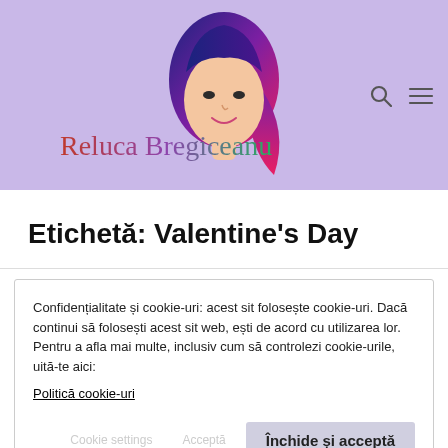[Figure (logo): Blog header with purple/lavender background, illustrated portrait of a woman with colorful hair (blue to pink gradient), and cursive signature text 'Reluca Bregiceanu' in gradient colors. Search and menu icons in top right.]
Etichetă: Valentine's Day
Confidențialitate și cookie-uri: acest sit folosește cookie-uri. Dacă continui să folosești acest sit web, ești de acord cu utilizarea lor.
Pentru a afla mai multe, inclusiv cum să controlezi cookie-urile, uită-te aici:
Politică cookie-uri
Închide și acceptă